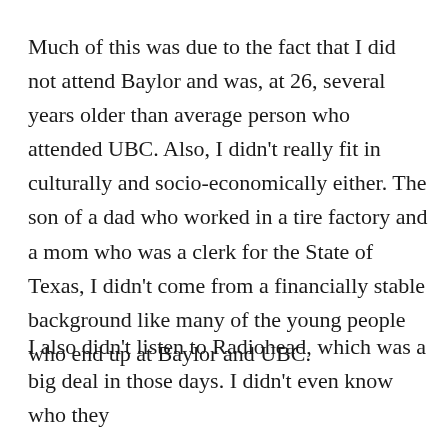Much of this was due to the fact that I did not attend Baylor and was, at 26, several years older than average person who attended UBC. Also, I didn't really fit in culturally and socio-economically either. The son of a dad who worked in a tire factory and a mom who was a clerk for the State of Texas, I didn't come from a financially stable background like many of the young people who end up at Baylor and UBC.
I also didn't listen to Radiohead, which was a big deal in those days. I didn't even know who they were until I had gone, or so I that that the occasion